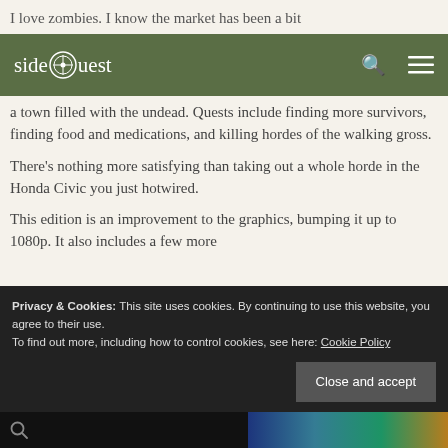I love zombies. I know the market has been a bit
[Figure (logo): sideQuest website logo and navigation bar with green background, compass-style icon, search icon and hamburger menu]
a town filled with the undead. Quests include finding more survivors, finding food and medications, and killing hordes of the walking gross.
There's nothing more satisfying than taking out a whole horde in the Honda Civic you just hotwired.
This edition is an improvement to the graphics, bumping it up to 1080p. It also includes a few more
Privacy & Cookies: This site uses cookies. By continuing to use this website, you agree to their use.
To find out more, including how to control cookies, see here: Cookie Policy
Close and accept